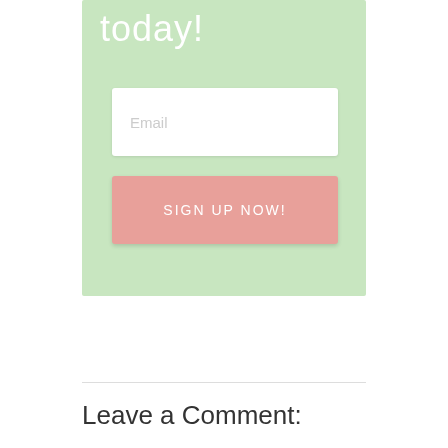today!
[Figure (screenshot): Email signup form with a white email input field and a pink 'SIGN UP NOW!' button on a light green background]
Leave a Comment: